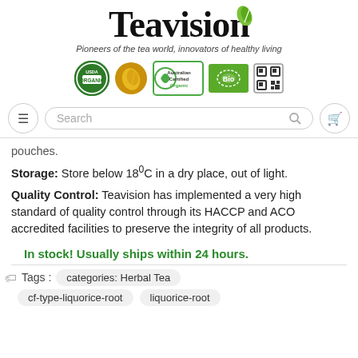[Figure (logo): Teavision logo with green leaf above the 'i', and tagline 'Pioneers of the tea world, innovators of healthy living']
[Figure (logo): Row of certification logos: USDA Organic, gold tea leaf badge, Australian Certified Organic, EU Bio leaf logo, and a grid/QR-style icon]
[Figure (screenshot): Navigation bar with hamburger menu button on left, Search bar in center, and shopping cart button on right]
pouches.
Storage: Store below 18°C in a dry place, out of light.
Quality Control: Teavision has implemented a very high standard of quality control through its HACCP and ACO accredited facilities to preserve the integrity of all products.
In stock! Usually ships within 24 hours.
Tags :   categories: Herbal Tea
cf-type-liquorice-root    liquorice-root